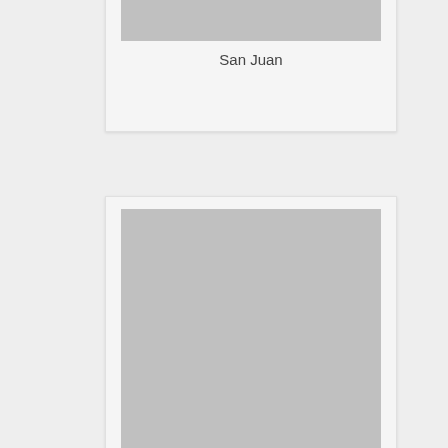[Figure (photo): Placeholder image card at top, partially visible, labeled San Juan]
San Juan
[Figure (photo): Placeholder image card in middle, large portrait-oriented image, labeled San Juan]
San Juan
[Figure (photo): Placeholder image card at bottom, partially visible]